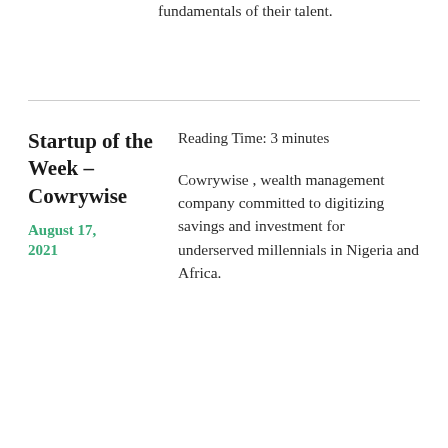fundamentals of their talent.
Startup of the Week – Cowrywise
August 17, 2021
Reading Time: 3 minutes
Cowrywise , wealth management company committed to digitizing savings and investment for underserved millennials in Nigeria and Africa.